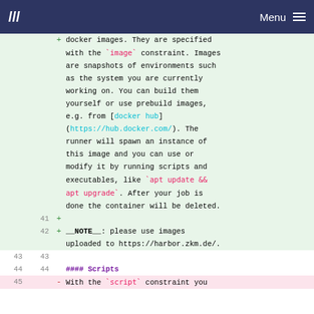/// Menu
docker images. They are specified with the `image` constraint. Images are snapshots of environments such as the system you are currently working on. You can build them yourself or use prebuild images, e.g. from [docker hub](https://hub.docker.com/). The runner will spawn an instance of this image and you can use or modify it by running scripts and executables, like `apt update && apt upgrade`. After your job is done the container will be deleted.
41 +
42 + __NOTE__: please use images uploaded to https://harbor.zkm.de/.
43 43
44 44 #### Scripts
45 - With the `script` constraint you